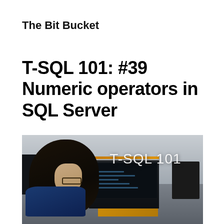The Bit Bucket
T-SQL 101: #39 Numeric operators in SQL Server
[Figure (photo): A woman with dark hair and glasses sits at a desk in an office, viewed from behind and to her right, looking at a dark monitor displaying code. The text 'T-SQL 101' appears in white overlay on the right side of the image. Another Apple device is visible to the right.]